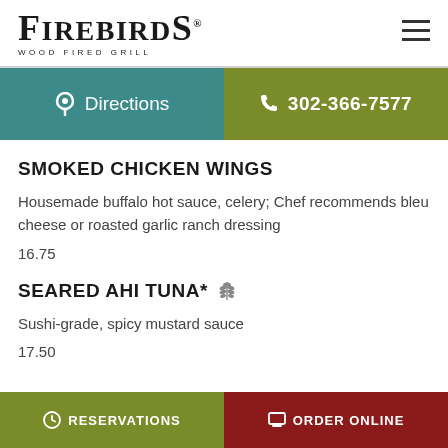FIREBIRDS WOOD FIRED GRILL
Directions | 302-366-7577
SMOKED CHICKEN WINGS
Housemade buffalo hot sauce, celery; Chef recommends bleu cheese or roasted garlic ranch dressing
16.75
SEARED AHI TUNA*
Sushi-grade, spicy mustard sauce
17.50
RESERVATIONS | ORDER ONLINE